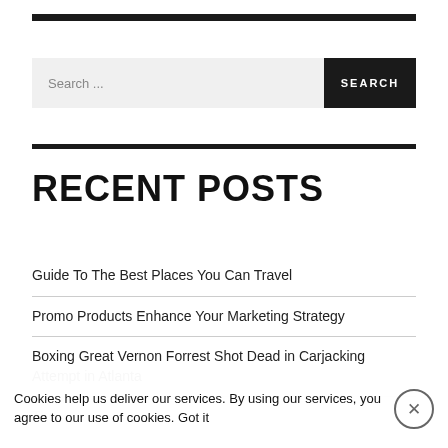Search ...
RECENT POSTS
Guide To The Best Places You Can Travel
Promo Products Enhance Your Marketing Strategy
Boxing Great Vernon Forrest Shot Dead in Carjacking Attempt in Atlanta
The ...
Cookies help us deliver our services. By using our services, you agree to our use of cookies. Got it